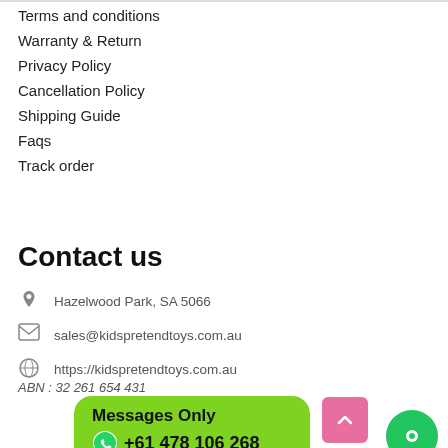Terms and conditions
Warranty & Return
Privacy Policy
Cancellation Policy
Shipping Guide
Faqs
Track order
Contact us
Hazelwood Park, SA 5066
sales@kidspretendtoys.com.au
https://kidspretendtoys.com.au
ABN : 32 261 654 431
Messages Only +61 478 106 268